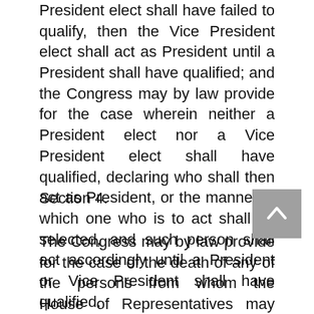President elect shall have failed to qualify, then the Vice President elect shall act as President until a President shall have qualified; and the Congress may by law provide for the case wherein neither a President elect nor a Vice President elect shall have qualified, declaring who shall then act as President, or the manner in which one who is to act shall be selected, and such person shall act accordingly until a President or Vice President shall have qualified.
Section 4.
The Congress may by law provide for the case of the death of any of the persons from whom the House of Representatives may choose a President whenever the right of choice shall have devolved upon them, and for the case of the death of any of the persons from whom the Senate may choose a Vice President whenever the right of choice shall have devolved upon them.